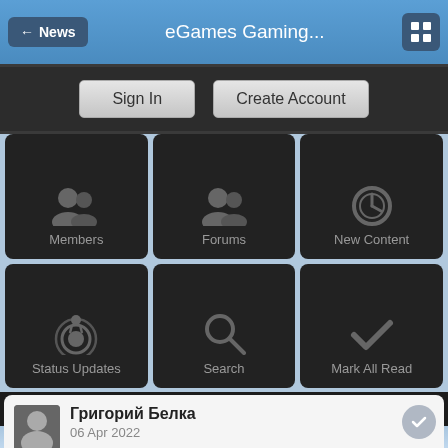← News   eGames Gaming...
[Figure (screenshot): Sign In and Create Account buttons on dark background]
[Figure (infographic): 6-cell navigation grid: Members, Forums, New Content, Status Updates, Search, Mark All Read]
[6.04.2022] - New server - Bless Deus x1000
Григорий Белка
06 Apr 2022